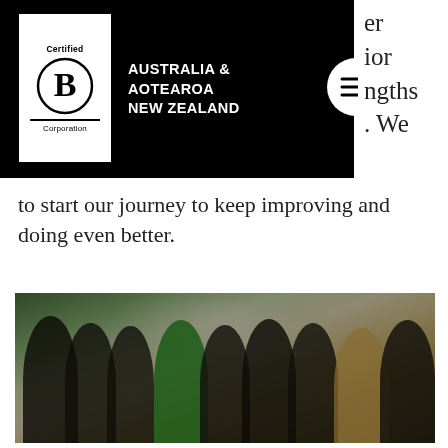[Figure (logo): Certified B Corporation logo for Australia & Aotearoa New Zealand with navigation header bar (black background, white B Corp logo, white text, hamburger menu circle icon). Partial text visible at top right: 'er', 'ior', 'ngths', '. We']
to start our journey to keep improving and doing even better.
[Figure (photo): Blurred group photo of people posing together indoors, one person wearing a green top, others in dark clothing, warm background lighting]